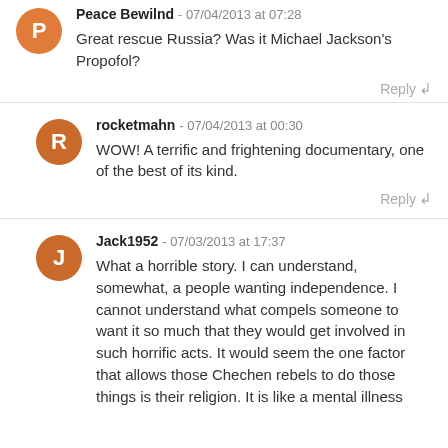Peace Bewilnd - 07/04/2013 at 07:28
Great rescue Russia? Was it Michael Jackson's Propofol?
rocketmahn - 07/04/2013 at 00:30
WOW! A terrific and frightening documentary, one of the best of its kind.
Jack1952 - 07/03/2013 at 17:37
What a horrible story. I can understand, somewhat, a people wanting independence. I cannot understand what compels someone to want it so much that they would get involved in such horrific acts. It would seem the one factor that allows those Chechen rebels to do those things is their religion. It is like a mental illness